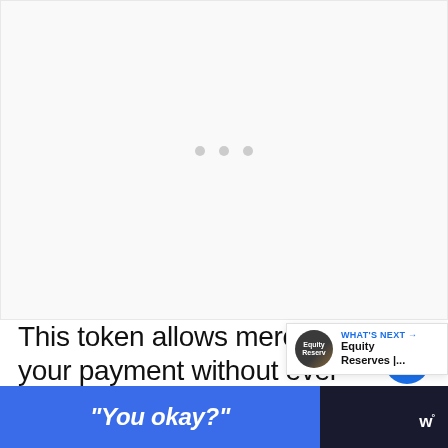[Figure (other): Loading placeholder area with three gray dots centered on light gray background]
This token allows merchants to process your payment without ever compromising your unique account de...
[Figure (screenshot): WHAT'S NEXT arrow label with avatar circle showing Equity Reserves text and Equity Reserves |... title]
“You okay?”